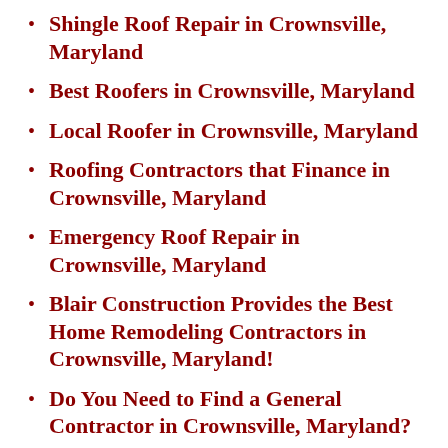Shingle Roof Repair in Crownsville, Maryland
Best Roofers in Crownsville, Maryland
Local Roofer in Crownsville, Maryland
Roofing Contractors that Finance in Crownsville, Maryland
Emergency Roof Repair in Crownsville, Maryland
Blair Construction Provides the Best Home Remodeling Contractors in Crownsville, Maryland!
Do You Need to Find a General Contractor in Crownsville, Maryland?
If You’re Looking for the Best Kitchen Remodeling Company in Crownsville, MD, Look No Further...